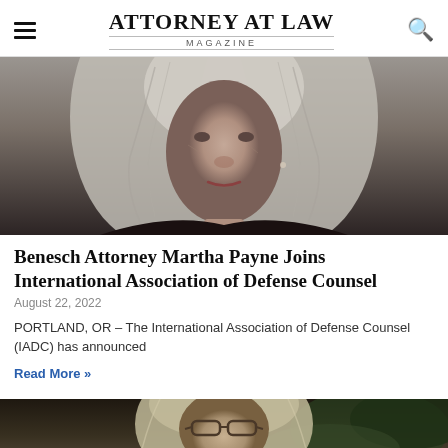ATTORNEY AT LAW MAGAZINE
[Figure (photo): Close-up portrait photograph of an elderly woman with long gray wavy hair, facing the camera against a dark background, wearing dark clothing.]
Benesch Attorney Martha Payne Joins International Association of Defense Counsel
August 22, 2022
PORTLAND, OR – The International Association of Defense Counsel (IADC) has announced
Read More »
[Figure (photo): Partial photograph of a woman with long blonde/gray hair wearing glasses, shown from roughly shoulder height up, with dark green foliage in the background.]